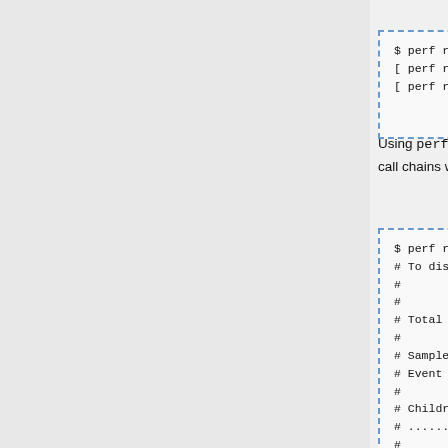[Figure (screenshot): Code block showing: $ perf record -m,64M -e intel_pt//u
 [ perf record: Woken up 1 times to
 [ perf record: Captured and wrote 7]
Using perf report, we can get a profile with call chains without needing any special options:
[Figure (screenshot): Code block showing perf report | head -156 output with header info, Total Lost Samples: 0, Samples and Event count sections, Children/Self/Command/Shar columns repeated twice]